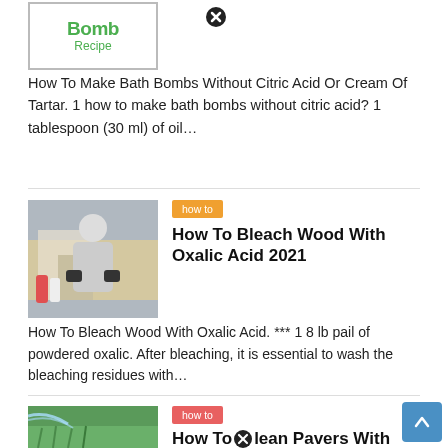[Figure (illustration): Bath Bomb Recipe logo thumbnail with green bold text 'Bomb' and 'Recipe' inside a bordered box]
How To Make Bath Bombs Without Citric Acid Or Cream Of Tartar. 1 how to make bath bombs without citric acid? 1 tablespoon (30 ml) of oil…
[Figure (photo): Person in gloves applying liquid to wood with bottles of oxalic acid solution nearby]
how to
How To Bleach Wood With Oxalic Acid 2021
How To Bleach Wood With Oxalic Acid. *** 1 8 lb pail of powdered oxalic. After bleaching, it is essential to wash the bleaching residues with…
[Figure (photo): Power washer spraying green artificial grass or turf on pavers]
how to
How To Clean Pavers With